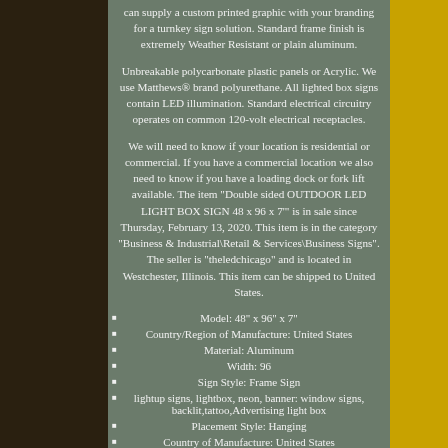can supply a custom printed graphic with your branding for a turnkey sign solution. Standard frame finish is extremely Weather Resistant or plain aluminum.
Unbreakable polycarbonate plastic panels or Acrylic. We use Matthews® brand polyurethane. All lighted box signs contain LED illumination. Standard electrical circuitry operates on common 120-volt electrical receptacles.
We will need to know if your location is residential or commercial. If you have a commercial location we also need to know if you have a loading dock or fork lift available. The item "Double sided OUTDOOR LED LIGHT BOX SIGN 48 x 96 x 7'" is in sale since Thursday, February 13, 2020. This item is in the category "Business & Industrial\Retail & Services\Business Signs". The seller is "theledchicago" and is located in Westchester, Illinois. This item can be shipped to United States.
Model: 48" x 96" x 7"
Country/Region of Manufacture: United States
Material: Aluminum
Width: 96
Sign Style: Frame Sign
lightup signs, lightbox, neon, banner: window signs, backlit,tattoo,Advertising light box
Placement Style: Hanging
Country of Manufacture: United States